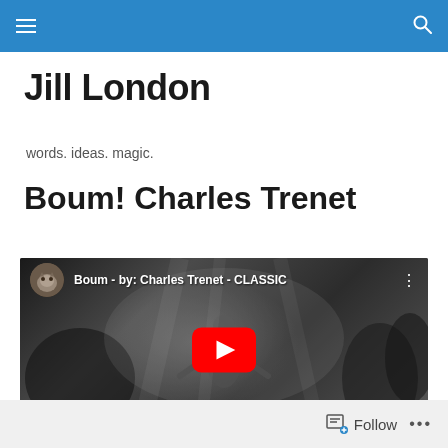Navigation bar with hamburger menu and search icon
Jill London
words. ideas. magic.
Boum! Charles Trenet
[Figure (screenshot): YouTube video embed showing 'Boum - by: Charles Trenet - CLASSIC' with a channel avatar of a wolf, a YouTube play button, and grayscale video thumbnail of a performer on stage.]
Follow  •••